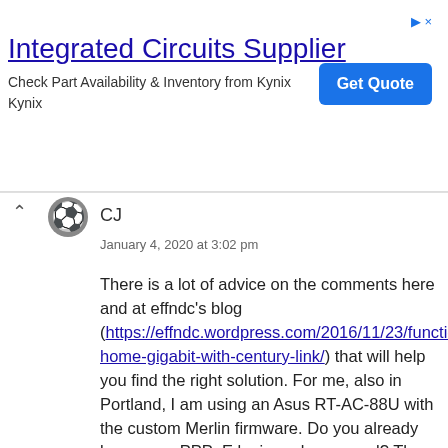[Figure (other): Advertisement banner: Integrated Circuits Supplier — Check Part Availability & Inventory from Kynix. Get Quote button.]
CJ
January 4, 2020 at 3:02 pm

There is a lot of advice on the comments here and at effndc's blog (https://effndc.wordpress.com/2016/11/23/functional-home-gigabit-with-century-link/) that will help you find the right solution. For me, also in Portland, I am using an Asus RT-AC-88U with the custom Merlin firmware. Do you already know your PPPoE login and password? The two things that you need are the ability to authenticate using those PPPoE credentials and the ability to use VLAN tag 201 (if memory serves). Some routers can